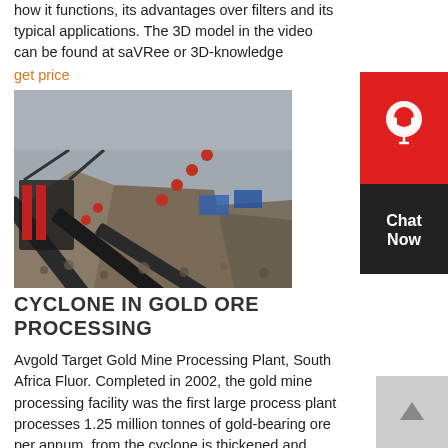how it functions, its advantages over filters and its typical applications. The 3D model in the video can be found at saVRee or 3D-knowledge
get price
[Figure (photo): Industrial mining conveyor belts and ore processing equipment with large piles of rock/ore material]
CYCLONE IN GOLD ORE PROCESSING
Avgold Target Gold Mine Processing Plant, South Africa Fluor. Completed in 2002, the gold mine processing facility was the first large process plant processes 1.25 million tonnes of gold-bearing ore per annum. from the cyclone is thickened and pumped to the leach circuit, where the gold .
get price